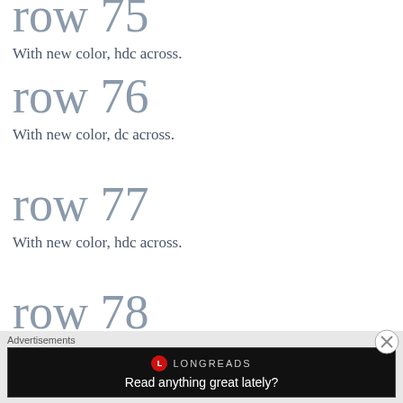row 75
With new color, hdc across.
row 76
With new color, dc across.
row 77
With new color, hdc across.
row 78
With new color, dc across.  Here's what it'll look like:
[Figure (photo): Teal/aqua colored crochet or knitting work shown as a strip at the bottom of the page]
Advertisements
[Figure (other): Longreads advertisement - black box with Longreads logo and text 'Read anything great lately?']